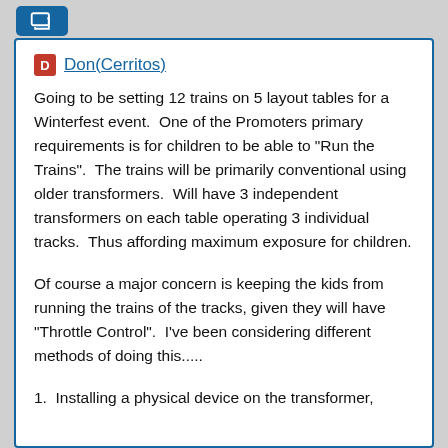[icon button]
Don(Cerritos)
Going to be setting 12 trains on 5 layout tables for a Winterfest event.  One of the Promoters primary requirements is for children to be able to "Run the Trains".  The trains will be primarily conventional using older transformers.  Will have 3 independent transformers on each table operating 3 individual tracks.  Thus affording maximum exposure for children.
Of course a major concern is keeping the kids from running the trains of the tracks, given they will have "Throttle Control".  I've been considering different methods of doing this.....
1.  Installing a physical device on the transformer,